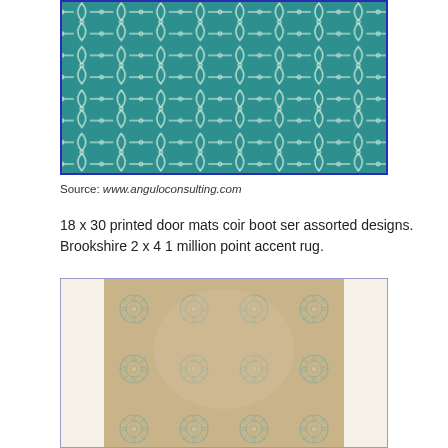[Figure (photo): Teal/turquoise trellis patterned rug with white geometric lattice design, shown in a blue-bordered rectangular frame]
Source: www.anguloconsulting.com
18 x 30 printed door mats coir boot ser assorted designs. Brookshire 2 x 4 1 million point accent rug.
[Figure (photo): Beige and blue-grey floral mandala patterned rug with intricate circular floral motifs, shown in a purple-bordered rectangular frame]